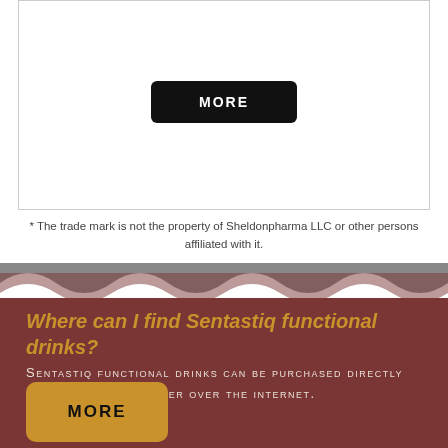[Figure (other): Black MORE button inside a bordered box]
* The trade mark is not the property of Sheldonpharma LLC or other persons affiliated with it.
[Figure (other): Wavy gray divider between white and dark red sections]
Where can I find Sentastiq functional drinks?
Sentastiq functional drinks can be purchased directly from the manufacturer over the internet.
[Figure (other): Gold/amber MORE button]